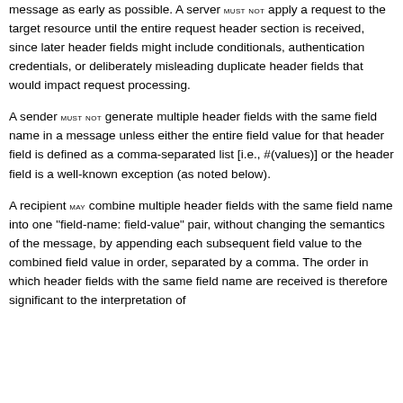message as early as possible. A server MUST NOT apply a request to the target resource until the entire request header section is received, since later header fields might include conditionals, authentication credentials, or deliberately misleading duplicate header fields that would impact request processing.
A sender MUST NOT generate multiple header fields with the same field name in a message unless either the entire field value for that header field is defined as a comma-separated list [i.e., #(values)] or the header field is a well-known exception (as noted below).
A recipient MAY combine multiple header fields with the same field name into one "field-name: field-value" pair, without changing the semantics of the message, by appending each subsequent field value to the combined field value in order, separated by a comma. The order in which header fields with the same field name are received is therefore significant to the interpretation of